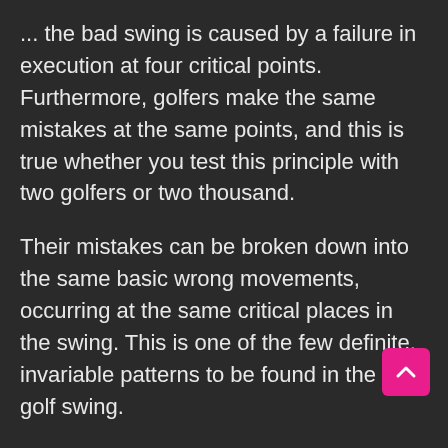... the bad swing is caused by a failure in execution at four critical points. Furthermore, golfers make the same mistakes at the same points, and this is true whether you test this principle with two golfers or two thousand.
Their mistakes can be broken down into the same basic wrong movements, occurring at the same critical places in the swing. This is one of the few definite, invariable patterns to be found in the bad golf swing.
These are called the Four Fatal Flaws.
Most poor or mediocre players manage to